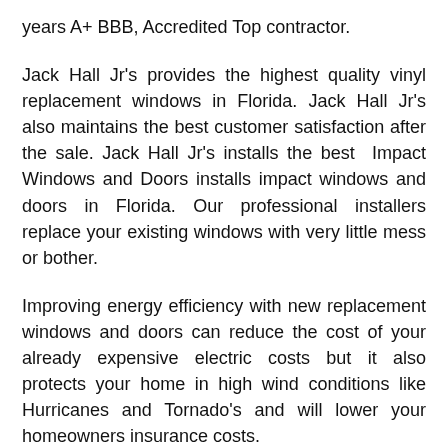years A+ BBB, Accredited Top contractor.
Jack Hall Jr's provides the highest quality vinyl replacement windows in Florida. Jack Hall Jr's also maintains the best customer satisfaction after the sale. Jack Hall Jr's installs the best  Impact Windows and Doors installs impact windows and doors in Florida. Our professional installers replace your existing windows with very little mess or bother.
Improving energy efficiency with new replacement windows and doors can reduce the cost of your already expensive electric costs but it also protects your home in high wind conditions like Hurricanes and Tornado's and will lower your homeowners insurance costs.
Your go-to Florida contractor for replacement